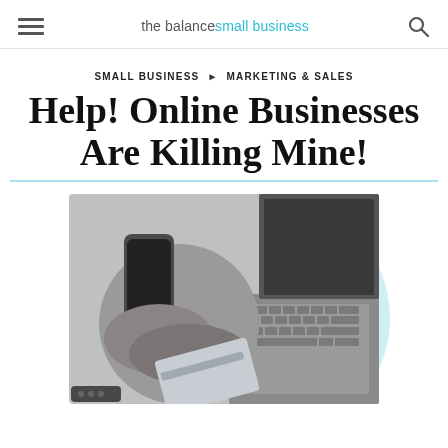the balance small business
SMALL BUSINESS ▶ MARKETING & SALES
Help! Online Businesses Are Killing Mine!
[Figure (photo): Person holding a smartphone and credit card near a laptop keyboard, shown in a circular cropped image with a light teal circle background.]